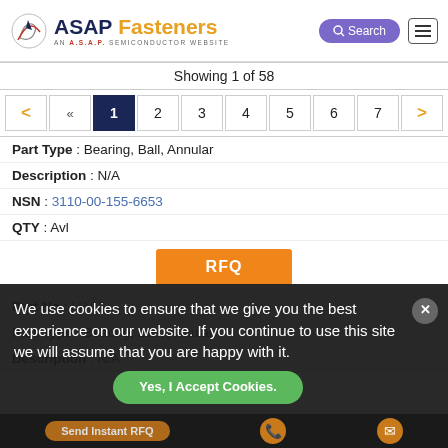[Figure (logo): ASAP Fasteners logo with airplane icon and 'AN A.S.A.P. SEMICONDUCTOR WEBSITE' tagline]
Showing 1 of 58
< « 1 2 3 4 5 6 7 >
Part Type : Bearing, Ball, Annular
Description : N/A
NSN : 3110-00-155-6653
QTY : Avl
RFQ
Part No : M187
Part Type : Bearing, Ball, Annular
Description : N/A
We use cookies to ensure that we give you the best experience on our website. If you continue to use this site we will assume that you are happy with it.
Yes, I Accept Cookies.
Send Instant RFQ